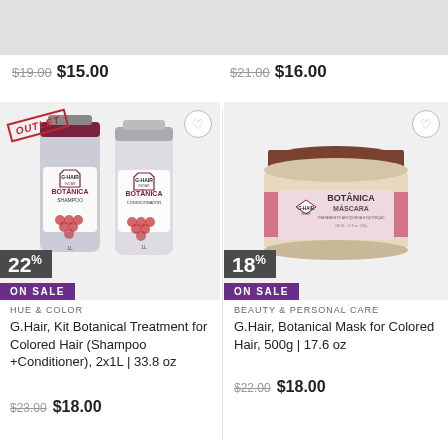$19.00 $15.00
$21.00 $16.00
[Figure (photo): Two G.Hair Botânica shampoo and conditioner bottles (1L each) with OUTLET stamp and 22% ON SALE badge]
HUE & COLOR
G.Hair, Kit Botanical Treatment for Colored Hair (Shampoo +Conditioner), 2x1L | 33.8 oz
$23.00 $18.00
[Figure (photo): G.Hair Botânica Máscara jar (500g) with 18% ON SALE badge]
BEAUTY & PERSONAL CARE
G.Hair, Botanical Mask for Colored Hair, 500g | 17.6 oz
$22.00 $18.00